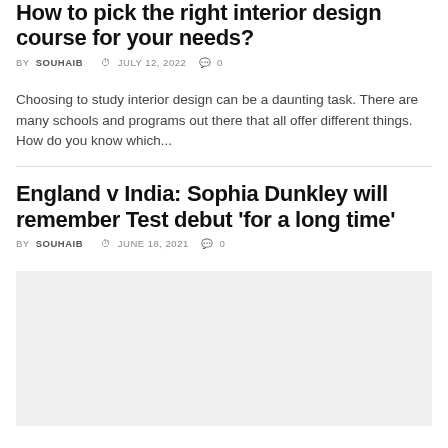How to pick the right interior design course for your needs?
BY SOUHAIB  JULY 12, 2022  0
Choosing to study interior design can be a daunting task. There are many schools and programs out there that all offer different things. How do you know which...
England v India: Sophia Dunkley will remember Test debut 'for a long time'
BY SOUHAIB  JUNE 18, 2021  0
[Figure (photo): Light gray placeholder image for the England v India article]